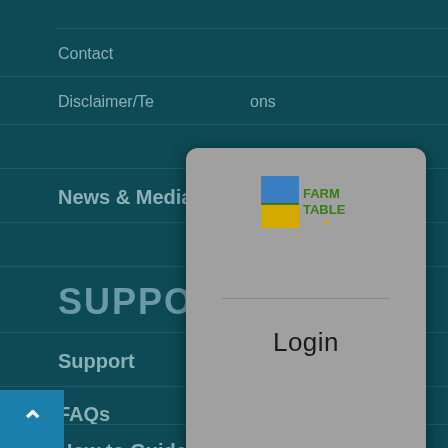Contact
Disclaimer/Terms & Conditions
News & Media
SUPPORT
Support
FAQs
How to Guides
[Figure (screenshot): Login modal overlay with FarmTable logo at top and Login text, overlaid on a dark teal navigation menu]